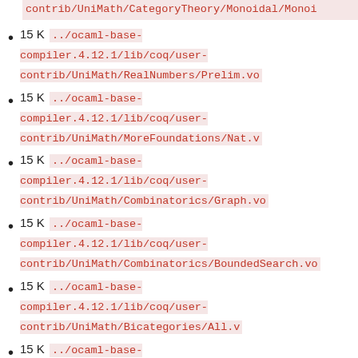contrib/UniMath/CategoryTheory/Monoidal/Monoi...
15 K ../ocaml-base-compiler.4.12.1/lib/coq/user-contrib/UniMath/RealNumbers/Prelim.vo
15 K ../ocaml-base-compiler.4.12.1/lib/coq/user-contrib/UniMath/MoreFoundations/Nat.v
15 K ../ocaml-base-compiler.4.12.1/lib/coq/user-contrib/UniMath/Combinatorics/Graph.vo
15 K ../ocaml-base-compiler.4.12.1/lib/coq/user-contrib/UniMath/Combinatorics/BoundedSearch.vo...
15 K ../ocaml-base-compiler.4.12.1/lib/coq/user-contrib/UniMath/Bicategories/All.v
15 K ../ocaml-base-compiler.4.12.1/lib/coq/user-contrib/UniMath/Algebra/Universal/Examples/Mon...
15 K ../ocaml-base...